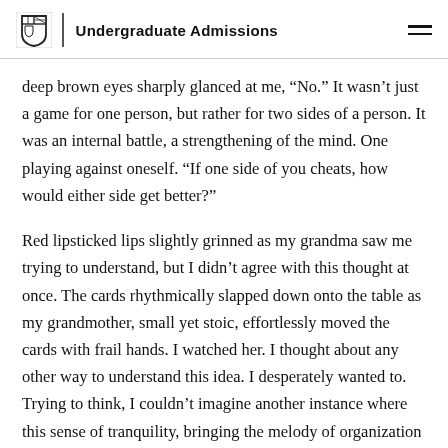Undergraduate Admissions
deep brown eyes sharply glanced at me, “No.” It wasn’t just a game for one person, but rather for two sides of a person. It was an internal battle, a strengthening of the mind. One playing against oneself. “If one side of you cheats, how would either side get better?”
Red lipsticked lips slightly grinned as my grandma saw me trying to understand, but I didn’t agree with this thought at once. The cards rhythmically slapped down onto the table as my grandmother, small yet stoic, effortlessly moved the cards with frail hands. I watched her. I thought about any other way to understand this idea. I desperately wanted to. Trying to think, I couldn’t imagine another instance where this sense of tranquility, bringing the melody of organization out of a cacophony of random cards, came from such intense competition.